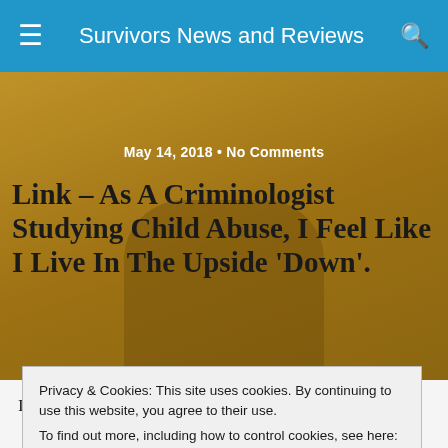Survivors News and Reviews
[Figure (photo): Background photo of a child sitting on steps with head down, tinted golden/amber overlay]
May 14, 2018 • No Comments
Link – As A Criminologist Studying Child Abuse, I Feel Like I Live In The Upside 'Down'.
I haven't ever seen the show, but this sounds about right.
Privacy & Cookies: This site uses cookies. By continuing to use this website, you agree to their use.
To find out more, including how to control cookies, see here: Cookie Policy
of the young protagonists confronts a monster from the 'upside down', and it liv…
When I'm confronted by people who deny the